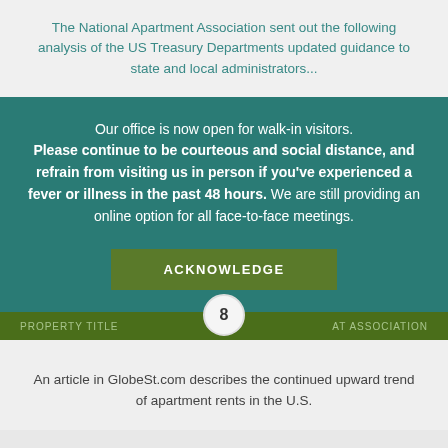The National Apartment Association sent out the following analysis of the US Treasury Departments updated guidance to state and local administrators...
Our office is now open for walk-in visitors. Please continue to be courteous and social distance, and refrain from visiting us in person if you've experienced a fever or illness in the past 48 hours. We are still providing an online option for all face-to-face meetings.
ACKNOWLEDGE
8
An article in GlobeSt.com describes the continued upward trend of apartment rents in the U.S.